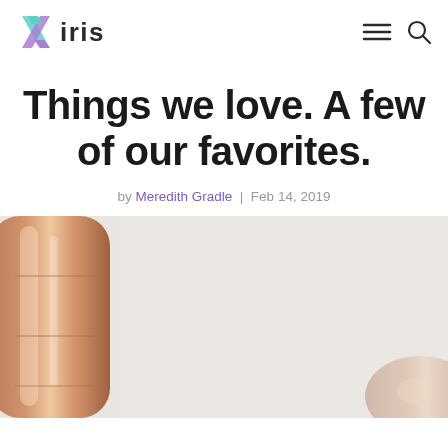[Figure (logo): Iris logo with stylized X mark in teal/purple and the word 'iris' in dark text]
[Figure (other): Navigation icons: hamburger menu and search icon on the right side of the header]
Things we love. A few of our favorites.
by Meredith Gradle | Feb 14, 2019
[Figure (photo): Photo of rose gold metallic number/letter balloons against a light gray background, partially cropped at bottom of page]